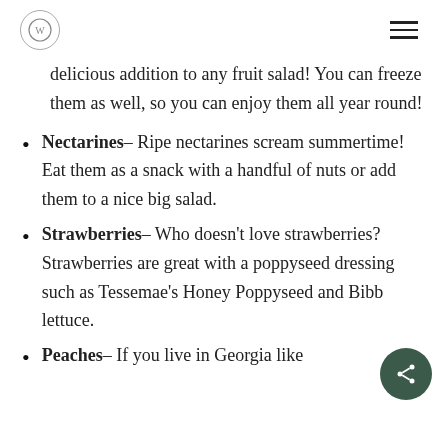[Logo] [Hamburger menu]
delicious addition to any fruit salad! You can freeze them as well, so you can enjoy them all year round!
Nectarines– Ripe nectarines scream summertime! Eat them as a snack with a handful of nuts or add them to a nice big salad.
Strawberries– Who doesn't love strawberries? Strawberries are great with a poppyseed dressing such as Tessemae's Honey Poppyseed and Bibb lettuce.
Peaches– If you live in Georgia like